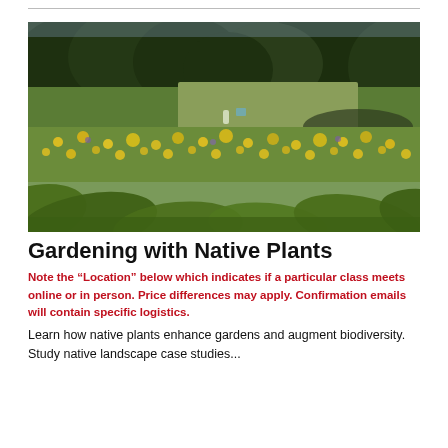[Figure (photo): A lush native plant meadow garden with yellow wildflowers blooming among green grasses and shrubs, with a treeline of dark green trees in the background. Sunlit summer scene.]
Gardening with Native Plants
Note the "Location" below which indicates if a particular class meets online or in person. Price differences may apply. Confirmation emails will contain specific logistics.
Learn how native plants enhance gardens and augment biodiversity. Study native landscape case studies...